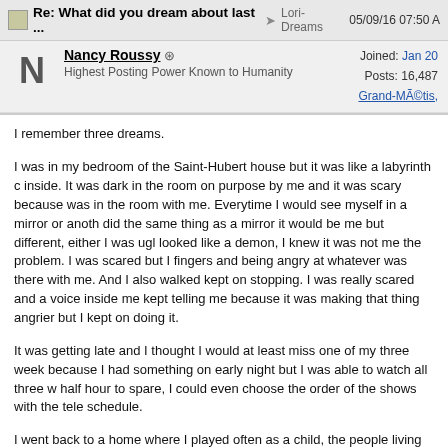Re: What did you dream about last ... → Lori-Dreams 05/09/16 07:50 A
Nancy Roussy ☺ Joined: Jan 20 Posts: 16,487 Grand-MÃ©tis, Highest Posting Power Known to Humanity
I remember three dreams.
I was in my bedroom of the Saint-Hubert house but it was like a labyrinth c inside. It was dark in the room on purpose by me and it was scary because was in the room with me. Everytime I would see myself in a mirror or anoth did the same thing as a mirror it would be me but different, either I was ugl looked like a demon, I knew it was not me the problem. I was scared but I fingers and being angry at whatever was there with me. And I also walked kept on stopping. I was really scared and a voice inside me kept telling me because it was making that thing angrier but I kept on doing it.
It was getting late and I thought I would at least miss one of my three week because I had something on early night but I was able to watch all three w half hour to spare, I could even choose the order of the shows with the tele schedule.
I went back to a home where I played often as a child, the people living the daughter to which I was a friend and they had kept her bedroom like it was completely closed, they never went in there. I was able to get in the house bedroom, just in case I would keep everything cleaned and my things in a would be easy to hide just in case which was the best choice because I ma